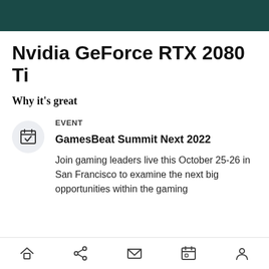Nvidia GeForce RTX 2080 Ti
Why it's great
EVENT

GamesBeat Summit Next 2022

Join gaming leaders live this October 25-26 in San Francisco to examine the next big opportunities within the gaming